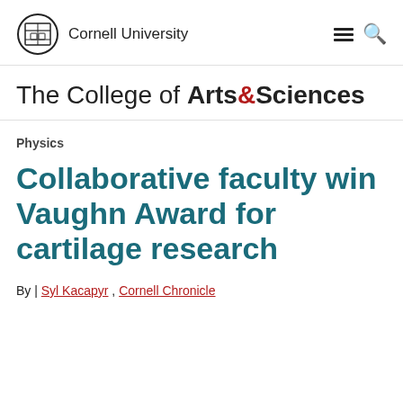Cornell University
The College of Arts&Sciences
Physics
Collaborative faculty win Vaughn Award for cartilage research
By | Syl Kacapyr , Cornell Chronicle